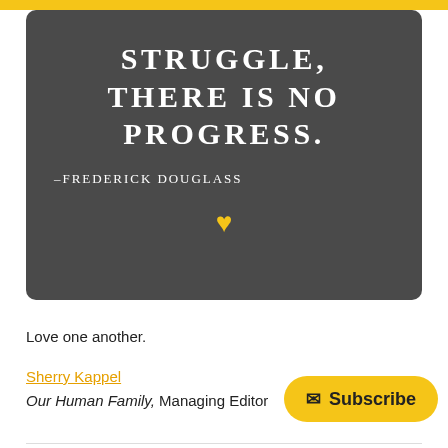[Figure (illustration): Dark gray rounded rectangle card with white serif text showing a quote: 'STRUGGLE, THERE IS NO PROGRESS.' attributed to '–FREDERICK DOUGLASS', with a yellow heart icon below the attribution.]
Love one another.
Sherry Kappel
Our Human Family, Managing Editor
Subscribe